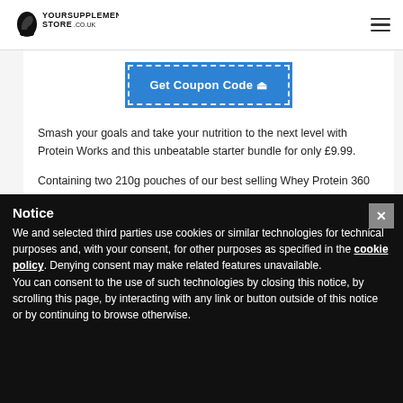YourSupplementStore.co.uk
[Figure (logo): YourSupplementStore.co.uk logo with flexing arm icon]
Get Coupon Code
Smash your goals and take your nutrition to the next level with Protein Works and this unbeatable starter bundle for only £9.99.
Containing two 210g pouches of our best selling Whey Protein 360 Protein Shake, in any 2 flavours of your choice. We've also thrown in a Loaded Legend and a Protein Works
Notice
We and selected third parties use cookies or similar technologies for technical purposes and, with your consent, for other purposes as specified in the cookie policy. Denying consent may make related features unavailable.
You can consent to the use of such technologies by closing this notice, by scrolling this page, by interacting with any link or button outside of this notice or by continuing to browse otherwise.